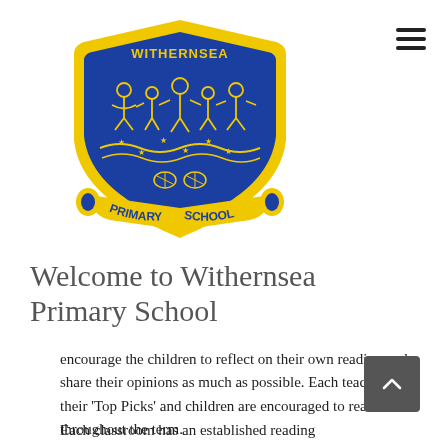[Figure (logo): Withernsea Primary School shield crest logo — blue and yellow shield with children figures holding hands, stars and waves, shells, text 'WITHERNSEA' at top, 'PRIMARY SCHOOL' at bottom]
Welcome to Withernsea Primary School
encourage the children to reflect on their own reading and share their opinions as much as possible. Each teacher has their 'Top Picks' and children are encouraged to read them throughout the term.
Each classroom has an established reading